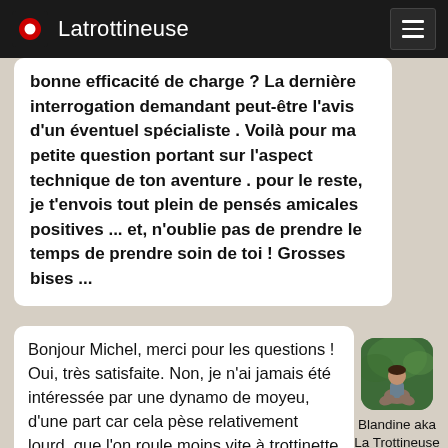Latrottineuse
bonne efficacité de charge ? La dernière interrogation demandant peut-être l'avis d'un éventuel spécialiste . Voilà pour ma petite question portant sur l'aspect technique de ton aventure . pour le reste, je t'envois tout plein de pensés amicales positives ... et, n'oublie pas de prendre le temps de prendre soin de toi ! Grosses bises ...
Bonjour Michel, merci pour les questions !
Oui, très satisfaite. Non, je n'ai jamais été intéressée par une dynamo de moyeu, d'une part car cela pèse relativement lourd, que l'on roule moins vite à trottinette qu'à vélo, et que cela rend dépendant du pédalage pour
[Figure (photo): Avatar photo of Blandine aka La Trottineuse, a person sitting outdoors with green background, displayed in a rounded-corner square thumbnail]